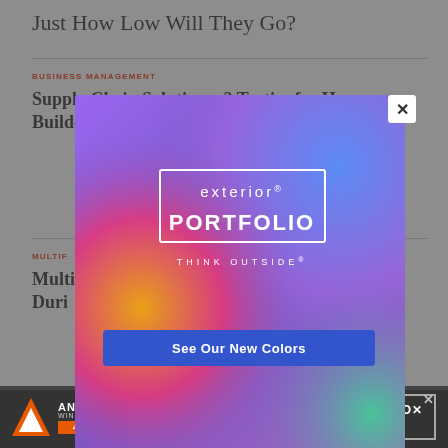Just How Low Will They Go?
BUSINESS MANAGEMENT
Supply Chain Solutions: 3 Tactics for Home Builders
MULTIF...
Multi... During...
[Figure (advertisement): Exterior Portfolio advertisement popup with colorful gradient background (purple, blue, orange, pink, green). Shows 'exterior PORTFOLIO THINK OUTSIDE' logo in white with a bordered box. Has a blue 'See Our New Colors' CTA button and an X close button in top right corner.]
[Figure (advertisement): Andersen Windows & Doors 400 Series bottom banner ad on dark background with orange triangle logo, brand name, and 'LEARN MORE' button with X close.]